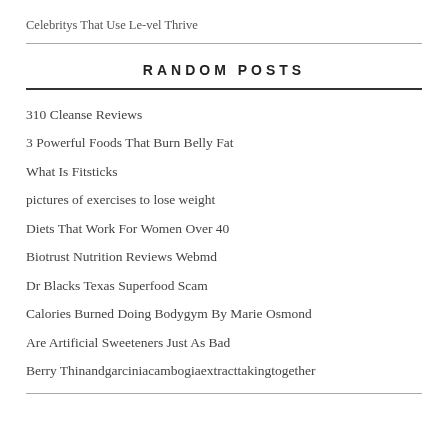Celebritys That Use Le-vel Thrive
RANDOM POSTS
310 Cleanse Reviews
3 Powerful Foods That Burn Belly Fat
What Is Fitsticks
pictures of exercises to lose weight
Diets That Work For Women Over 40
Biotrust Nutrition Reviews Webmd
Dr Blacks Texas Superfood Scam
Calories Burned Doing Bodygym By Marie Osmond
Are Artificial Sweeteners Just As Bad
Berry Thinandgarciniacambogiaextracttakingtogether